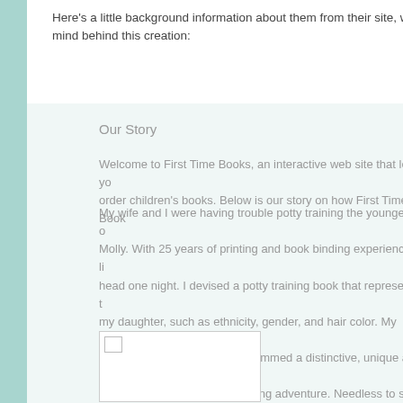Here's a little background information about them from their site, written by the mind behind this creation:
Our Story
Welcome to First Time Books, an interactive web site that lets you order children's books. Below is our story on how First Time Book...
My wife and I were having trouble potty training the youngest of our children, Molly. With 25 years of printing and book binding experience, a light bulb went off in my head one night. I devised a potty training book that represented the characteristics of my daughter, such as ethnicity, gender, and hair color. My business partner, Kase, and I created and programmed a distinctive, unique and special book about Molly and her potty training adventure. Needless to say, after receiving her potty book, Molly never entered the bathroom without it. Within 2 weeks, we were living in a diaper-free home.
[Figure (photo): Image placeholder showing a small broken image icon in top-left corner of a white rectangle with border]